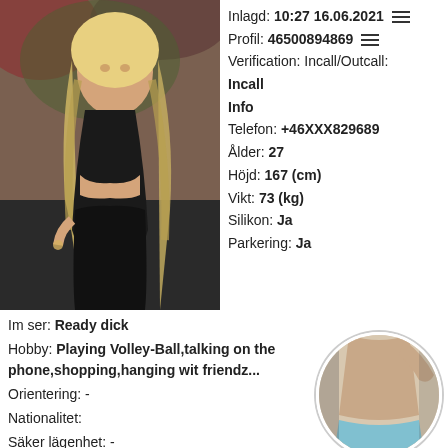[Figure (photo): Woman with long blonde hair wearing black outfit, posed sideways against a garden background]
Inlagd: 10:27 16.06.2021
Profil: 46500894869
Verification: Incall/Outcall: Incall
Info
Telefon: +46XXX829689
Ålder: 27
Höjd: 167 (cm)
Vikt: 73 (kg)
Silikon: Ja
Parkering: Ja
Im ser: Ready dick
Hobby: Playing Volley-Ball,talking on the phone,shopping,hanging wit friendz...
Orientering: -
Nationalitet:
Säker lägenhet: -
[Figure (photo): Circular thumbnail photo]